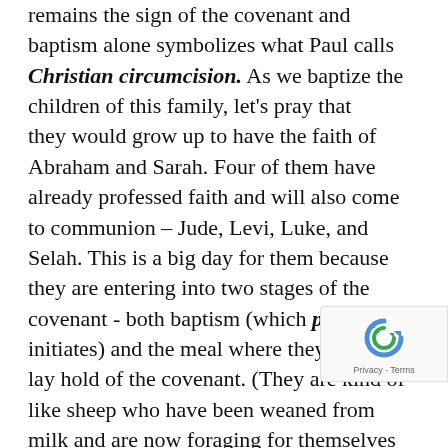remains the sign of the covenant and baptism alone symbolizes what Paul calls Christian circumcision. As we baptize the children of this family, let's pray that they would grow up to have the faith of Abraham and Sarah. Four of them have already professed faith and will also come to communion – Jude, Levi, Luke, and Selah. This is a big day for them because they are entering into two stages of the covenant - both baptism (which passively initiates) and the meal where they actively lay hold of the covenant. (They are kind of like sheep who have been weaned from milk and are now foraging for themselves on grass, so to speak.)

But the two main things I want you to realize this morning is that the New Testament is not an
[Figure (other): reCAPTCHA badge with recycling-style arrow logo and 'Privacy - Terms' text]